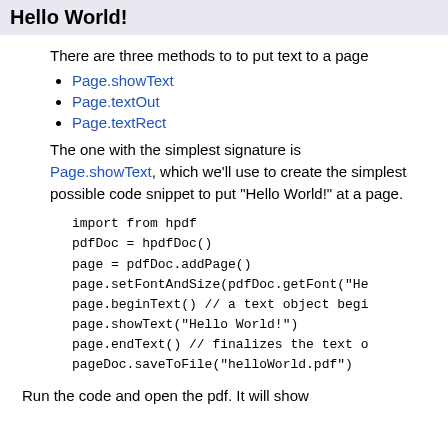Hello World!
There are three methods to to put text to a page
Page.showText
Page.textOut
Page.textRect
The one with the simplest signature is Page.showText, which we'll use to create the simplest possible code snippet to put "Hello World!" at a page.
import from hpdf
pdfDoc = hpdfDoc()
page = pdfDoc.addPage()
page.setFontAndSize(pdfDoc.getFont("He
page.beginText() // a text object beg
page.showText("Hello World!")
page.endText() // finalizes the text o
pageDoc.saveToFile("helloWorld.pdf")
Run the code and open the pdf. It will show